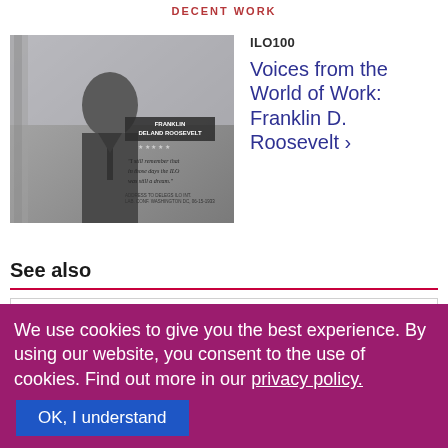DECENT WORK
[Figure (photo): Black and white photograph of Franklin D. Roosevelt with script text overlay reading 'I still remember that in those days the ILO was still a dream.' and label 'Franklin Deland Roosevelt']
ILO100
Voices from the World of Work: Franklin D. Roosevelt >
See also
Press release
We use cookies to give you the best experience. By using our website, you consent to the use of cookies. Find out more in our privacy policy.